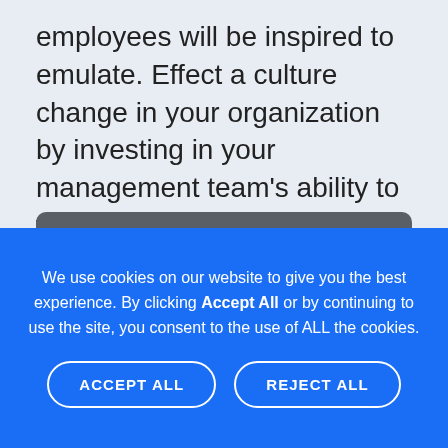employees will be inspired to emulate. Effect a culture change in your organization by investing in your management team’s ability to work at their best.
[Figure (screenshot): Dark grey rounded rectangle box with white text reading 'This content requires Adobe Flash or HTML5 Video']
We use cookies on our website to give you the best experience. By clicking Accept All or by continuing to use the site, you consent to the use of ALL the cookies.
ACCEPT ALL   REJECT ALL